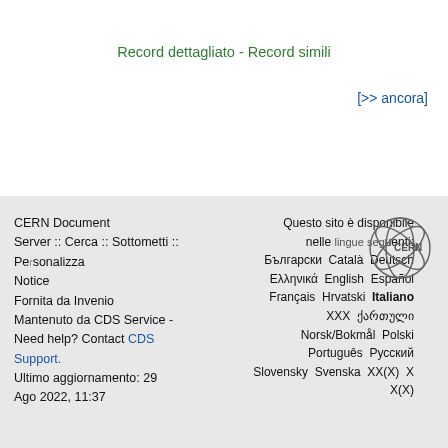Record dettagliato - Record simili
[>> ancora]
CERN Document Server :: Cerca :: Sottometti :: Personalizza :: Aiuto :: Bergacenti: Notice
Fornita da Invenio
Mantenuto da CDS Service -
Need help? Contact CDS Support.
Ultimo aggiornamento: 29 Ago 2022, 11:37
Questo sito è disponibile nelle seguenti lingue:
Български  Català  Deutsch  Ελληνικά  English  Español  Français  Hrvatski  Italiano  ᴨᴨᴨ  ქართული  Norsk/Bokmål  Polski  Português  Русский  Slovensky  Svenska  ᴨᴨ(ᴨ)  ᴨ  ᴨ(ᴨ)